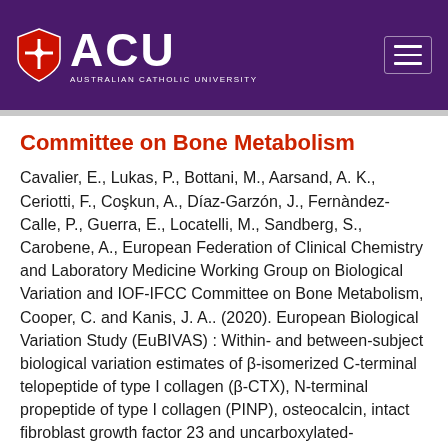[Figure (logo): Australian Catholic University (ACU) logo with shield icon and white text on purple background, with hamburger menu icon top right]
Committee on Bone Metabolism
Cavalier, E., Lukas, P., Bottani, M., Aarsand, A. K., Ceriotti, F., Coşkun, A., Díaz-Garzón, J., Fernàndez-Calle, P., Guerra, E., Locatelli, M., Sandberg, S., Carobene, A., European Federation of Clinical Chemistry and Laboratory Medicine Working Group on Biological Variation and IOF-IFCC Committee on Bone Metabolism, Cooper, C. and Kanis, J. A.. (2020). European Biological Variation Study (EuBIVAS) : Within- and between-subject biological variation estimates of β-isomerized C-terminal telopeptide of type I collagen (β-CTX), N-terminal propeptide of type I collagen (PINP), osteocalcin, intact fibroblast growth factor 23 and uncarboxylated-